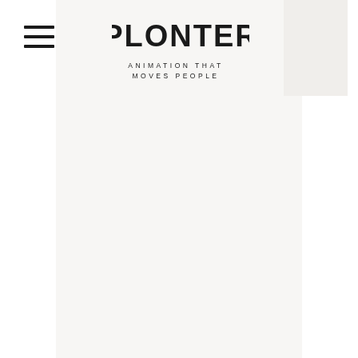[Figure (logo): Plonter logo with stylized hand-drawn bold uppercase text 'PLONTER' and tagline 'ANIMATION THAT MOVES PEOPLE' below]
[Figure (illustration): Hamburger menu icon consisting of three horizontal lines on the left side of the header]